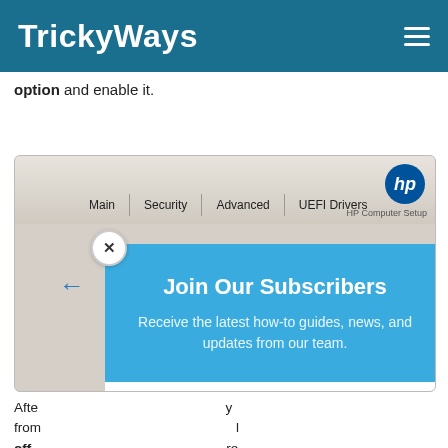TrickyWays
option and enable it.
[Figure (screenshot): HP Computer Setup BIOS screen showing navigation tabs: Main, Security, Advanced, UEFI Drivers, with HP logo in top right corner. A subscription popup overlay is displayed with 'Join Our Subscribers' heading, body text, email input field and Subscribe button.]
After                                                      y from                                                     l off,                                                      re in W